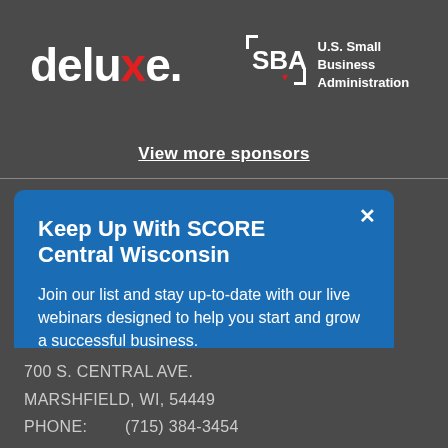[Figure (logo): Deluxe logo in white text with red X letter]
[Figure (logo): SBA U.S. Small Business Administration logo in white]
View more sponsors
Keep Up With SCORE Central Wisconsin
Join our list and stay up-to-date with our live webinars designed to help you start and grow a successful business.
email address  SUBMIT
700 S. CENTRAL AVE.
MARSHFIELD, WI, 54449
PHONE:        (715) 384-3454